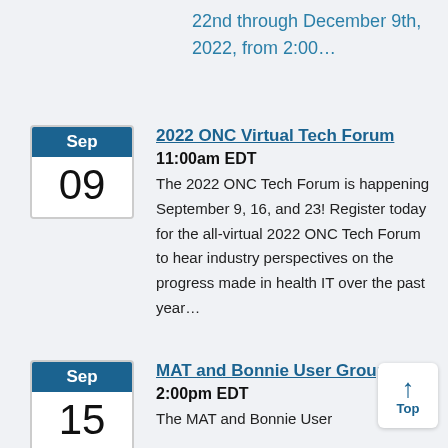22nd through December 9th, 2022, from 2:00…
Sep 09
2022 ONC Virtual Tech Forum
11:00am EDT
The 2022 ONC Tech Forum is happening September 9, 16, and 23! Register today for the all-virtual 2022 ONC Tech Forum to hear industry perspectives on the progress made in health IT over the past year…
Sep 15
MAT and Bonnie User Group
2:00pm EDT
The MAT and Bonnie User